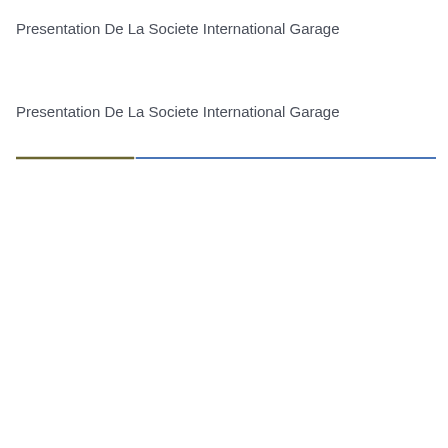Presentation De La Societe International Garage
Presentation De La Societe International Garage
[Figure (other): A decorative horizontal divider composed of two overlapping lines: a short dark olive/brown line on the left and a longer steel blue line extending to the right, crossing slightly in the middle.]